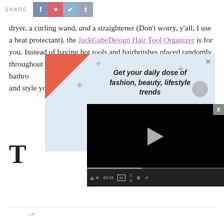SHARE
dryer, a curling wand, and a straightener (Don't worry, y'all, I use a heat protectant), the JackCubeDesign Hair Tool Organizer is for you. Instead of having hot tools and hairbrushes placed randomly throughout your bedroom or bathroom, izer and style you
[Figure (screenshot): Popup newsletter signup overlay with light blue background, orange corner, stars decoration, italic bold text 'Get your daily dose of fashion, beauty, lifestyle trends', STYLECASTER branding, and email input field]
[Figure (screenshot): Video player overlay showing black video area with play button, progress bar showing 02:16, and standard video controls including mute, captions, grid, settings, and fullscreen buttons]
-->